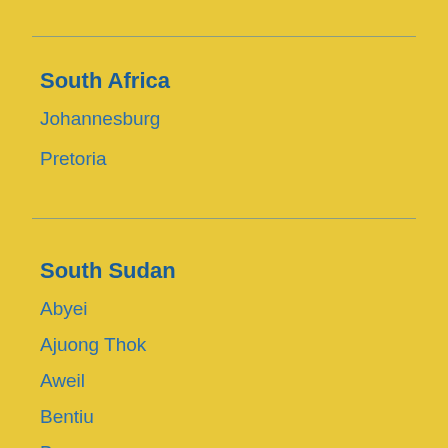South Africa
Johannesburg
Pretoria
South Sudan
Abyei
Ajuong Thok
Aweil
Bentiu
Bor
Juba